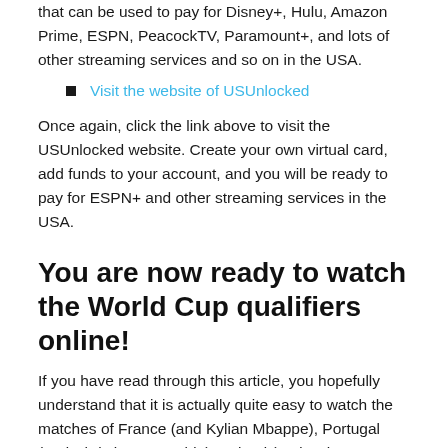that can be used to pay for Disney+, Hulu, Amazon Prime, ESPN, PeacockTV, Paramount+, and lots of other streaming services and so on in the USA.
Visit the website of USUnlocked
Once again, click the link above to visit the USUnlocked website. Create your own virtual card, add funds to your account, and you will be ready to pay for ESPN+ and other streaming services in the USA.
You are now ready to watch the World Cup qualifiers online!
If you have read through this article, you hopefully understand that it is actually quite easy to watch the matches of France (and Kylian Mbappe), Portugal (and Christiano Ronaldo), Poland (and Robert Lewandovski), Norway (and Erling Haaland), England (and Harry Kane),